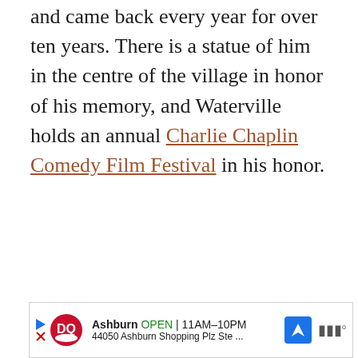and came back every year for over ten years. There is a statue of him in the centre of the village in honor of his memory, and Waterville holds an annual Charlie Chaplin Comedy Film Festival in his honor.
Related Post: 8 Most Charming Places To Visit In Ireland
[Figure (other): Dairy Queen advertisement banner: Ashburn OPEN 11AM-10PM, 44050 Ashburn Shopping Plz Ste ..., with DQ logo, navigation arrow icon, and Waze icon]